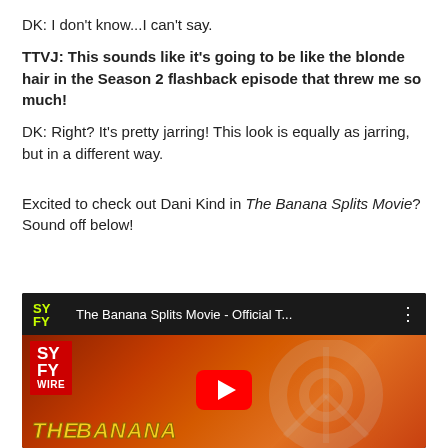DK: I don't know...I can't say.
TTVJ: This sounds like it's going to be like the blonde hair in the Season 2 flashback episode that threw me so much!
DK: Right? It's pretty jarring! This look is equally as jarring, but in a different way.
Excited to check out Dani Kind in The Banana Splits Movie? Sound off below!
[Figure (screenshot): YouTube video embed thumbnail for 'The Banana Splits Movie - Official T...' from SYFY Wire channel, showing a bloody prop with red SYFY WIRE badge, play button overlay, and 'THE BANANA' text at the bottom in yellow cartoon font]